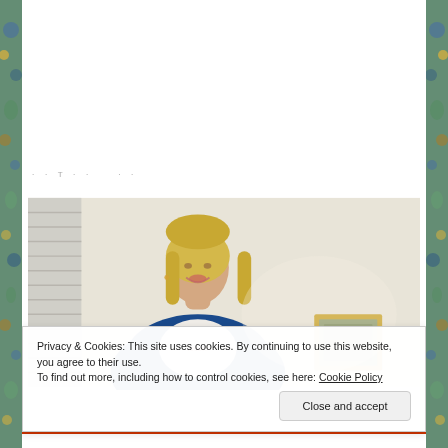· · ·
[Figure (photo): A blonde woman smiling, wearing a blue cardigan over a graphic t-shirt, standing against a cream/white wall with a small framed picture in the background]
Privacy & Cookies: This site uses cookies. By continuing to use this website, you agree to their use.
To find out more, including how to control cookies, see here: Cookie Policy
Close and accept